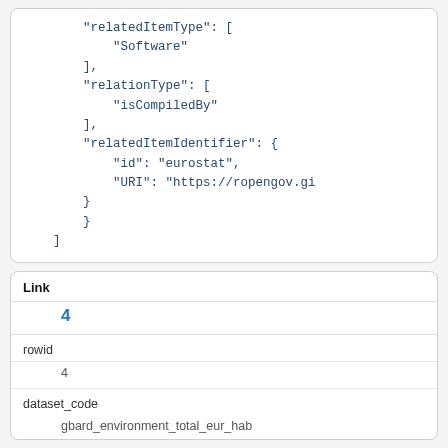"relatedItemType": [
    "Software"
],
"relationType": [
    "isCompiledBy"
],
"relatedItemIdentifier": {
    "id": "eurostat",
    "URI": "https://ropengov.gi"
}
}
]
Link
4
rowid
4
dataset_code
gbard_environment_total_eur_hab